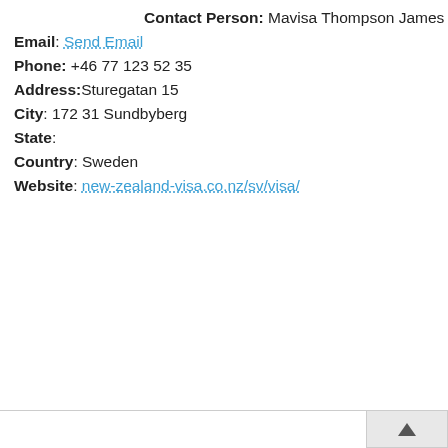Contact Person: Mavisa Thompson James
Email: Send Email
Phone: +46 77 123 52 35
Address: Sturegatan 15
City: 172 31 Sundbyberg
State:
Country: Sweden
Website: new-zealand-visa.co.nz/sv/visa/